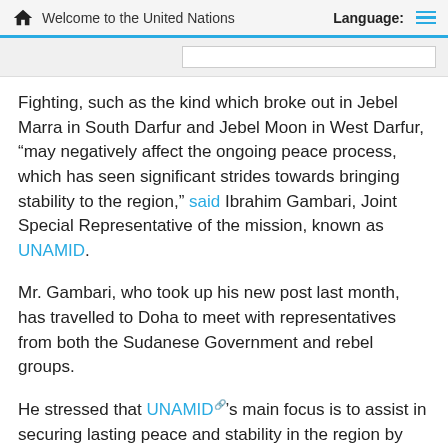Welcome to the United Nations   Language:
Fighting, such as the kind which broke out in Jebel Marra in South Darfur and Jebel Moon in West Darfur, “may negatively affect the ongoing peace process, which has seen significant strides towards bringing stability to the region,” said Ibrahim Gambari, Joint Special Representative of the mission, known as UNAMID.
Mr. Gambari, who took up his new post last month, has travelled to Doha to meet with representatives from both the Sudanese Government and rebel groups.
He stressed that UNAMID’s main focus is to assist in securing lasting peace and stability in the region by bolstering the security of civilians and uprooted people in Darfur, where the conflict has killed an estimated 300,000